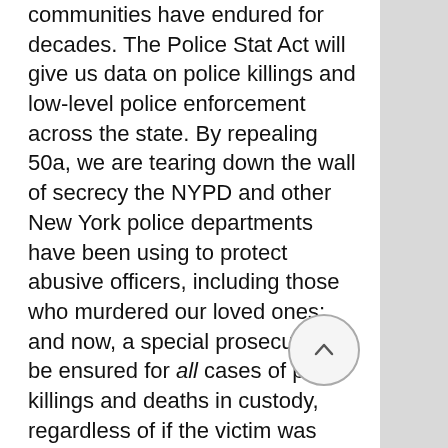communities have endured for decades. The Police Stat Act will give us data on police killings and low-level police enforcement across the state. By repealing 50a, we are tearing down the wall of secrecy the NYPD and other New York police departments have been using to protect abusive officers, including those who murdered our loved ones; and now, a special prosecutor will be ensured for all cases of police killings and deaths in custody, regardless of if the victim was allegedly armed - something the families have been demanding for decades.
The systemic changes that will be accomplished by making the special prosecutor bill law will result in more